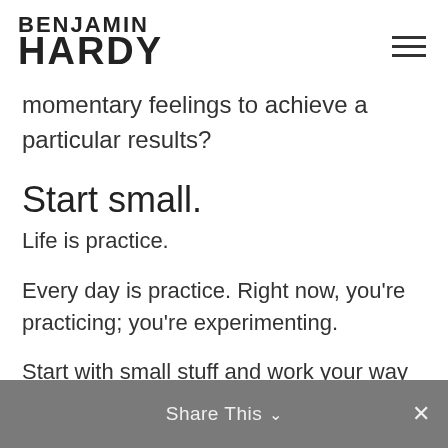BENJAMIN HARDY
momentary feelings to achieve a particular results?
Start small.
Life is practice.
Every day is practice. Right now, you're practicing; you're experimenting.
Start with small stuff and work your way up.
Share This ∨  ×